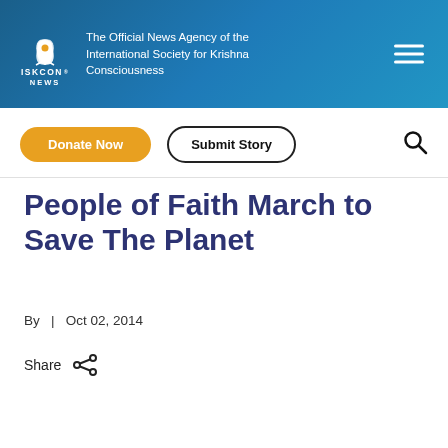ISKCON NEWS — The Official News Agency of the International Society for Krishna Consciousness
Donate Now | Submit Story
People of Faith March to Save The Planet
By  |  Oct 02, 2014
Share